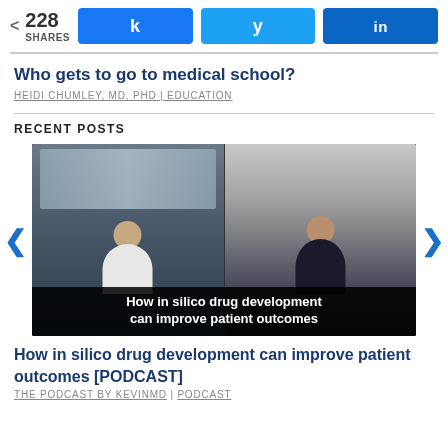< 228 SHARES  [Facebook] [Twitter] [LinkedIn]
Who gets to go to medical school?
HEIDI CHUMLEY, MD, PHD | EDUCATION
RECENT POSTS
[Figure (screenshot): Video thumbnail showing two people in a split-screen video call, with caption text: 'How in silico drug development can improve patient outcomes']
How in silico drug development can improve patient outcomes [PODCAST]
THE PODCAST BY KEVINMD | PODCAST